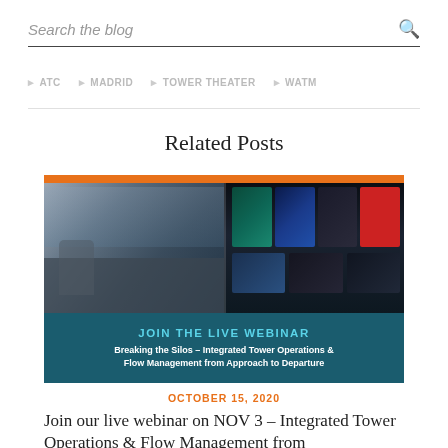Search the blog
ATC
MADRID
TOWER THEATER
WATM
Related Posts
[Figure (photo): Composite image showing an air traffic controller at a workstation in a tower (left) and a control room filled with multiple screens displaying radar and surveillance data (right). An orange bar runs across the top. A teal banner at the bottom reads JOIN THE LIVE WEBINAR / Breaking the Silos – Integrated Tower Operations & Flow Management from Approach to Departure]
OCTOBER 15, 2020
Join our live webinar on NOV 3 – Integrated Tower Operations & Flow Management from